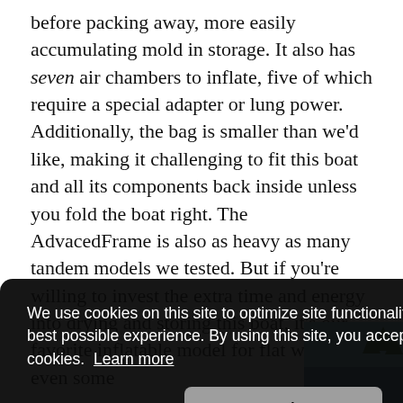before packing away, more easily accumulating mold in storage. It also has seven air chambers to inflate, five of which require a special adapter or lung power. Additionally, the bag is smaller than we'd like, making it challenging to fit this boat and all its components back inside unless you fold the boat right. The AdvacedFrame is also as heavy as many tandem models we tested. But if you're willing to invest the extra time and energy into drying and storing this boat, it's our favorite inflatable model for flat water and even some
[Figure (photo): Partial view of a person kayaking on a lake with forested mountains in the background]
We use cookies on this site to optimize site functionality and give you the best possible experience. By using this site, you accept our use of cookies. Learn more
Got it!